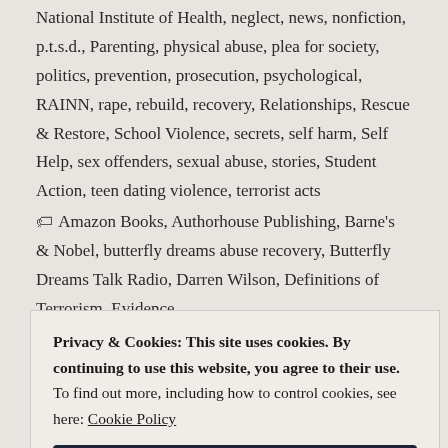National Institute of Health, neglect, news, nonfiction, p.t.s.d., Parenting, physical abuse, plea for society, politics, prevention, prosecution, psychological, RAINN, rape, rebuild, recovery, Relationships, Rescue & Restore, School Violence, secrets, self harm, Self Help, sex offenders, sexual abuse, stories, Student Action, teen dating violence, terrorist acts
Amazon Books, Authorhouse Publishing, Barne's & Nobel, butterfly dreams abuse recovery, Butterfly Dreams Talk Radio, Darren Wilson, Definitions of Terrorism, Evidence,
Privacy & Cookies: This site uses cookies. By continuing to use this website, you agree to their use. To find out more, including how to control cookies, see here: Cookie Policy
Close and accept
1 Comment